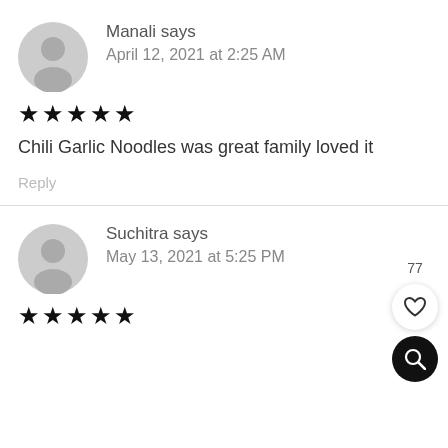Manali says
April 12, 2021 at 2:25 AM
★★★★★
Chili Garlic Noodles was great family loved it
Reply
77
Suchitra says
May 13, 2021 at 5:25 PM
★★★★★